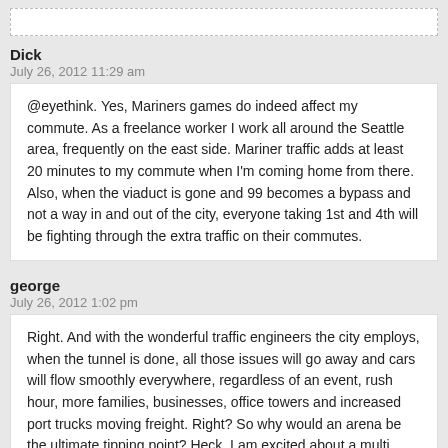[dashed box at top]
Dick
July 26, 2012 11:29 am
@eyethink. Yes, Mariners games do indeed affect my commute. As a freelance worker I work all around the Seattle area, frequently on the east side. Mariner traffic adds at least 20 minutes to my commute when I'm coming home from there. Also, when the viaduct is gone and 99 becomes a bypass and not a way in and out of the city, everyone taking 1st and 4th will be fighting through the extra traffic on their commutes.
george
July 26, 2012 1:02 pm
Right. And with the wonderful traffic engineers the city employs, when the tunnel is done, all those issues will go away and cars will flow smoothly everywhere, regardless of an event, rush hour, more families, businesses, office towers and increased port trucks moving freight. Right? So why would an arena be the ultimate tipping point? Heck, I am excited about a multi purpose area, not just sports, folks. Think of